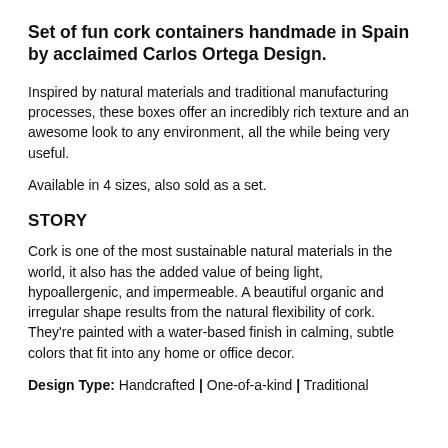Set of fun cork containers handmade in Spain by acclaimed Carlos Ortega Design.
Inspired by natural materials and traditional manufacturing processes, these boxes offer an incredibly rich texture and an awesome look to any environment, all the while being very useful.
Available in 4 sizes, also sold as a set.
STORY
Cork is one of the most sustainable natural materials in the world, it also has the added value of being light, hypoallergenic, and impermeable. A beautiful organic and irregular shape results from the natural flexibility of cork. They're painted with a water-based finish in calming, subtle colors that fit into any home or office decor.
Design Type: Handcrafted | One-of-a-kind | Traditional